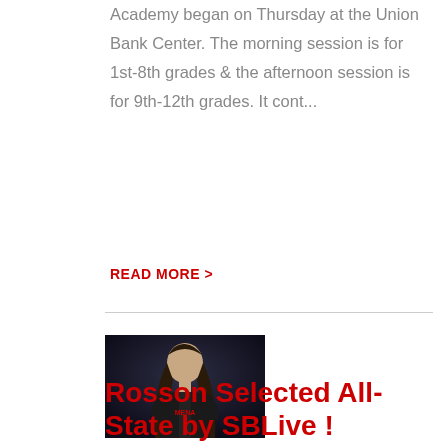Academy began on Thursday at the Union Bank Center. The morning session is for 1st-8th grades & the afternoon session is for 9th-12th grades. It cont...
READ MORE >
[Figure (photo): Photo of Kensey Rosson, a young woman with long hair wearing a dark shirt, against a dark background.]
Rosson Selected All-State by SBLive !
Mena Ladycat KENSEY ROSSON has been named to the SBLive All-State Softball Team. Rosson will be a Jr. in 2022/2023 & had .618 batting average